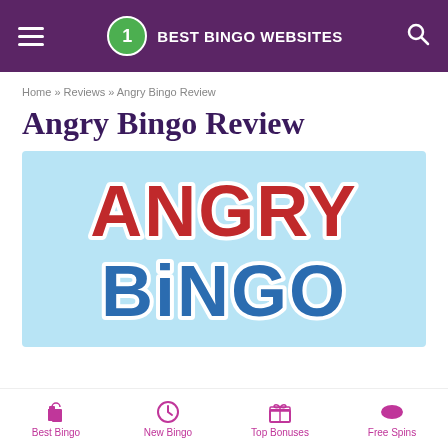Best Bingo Websites
Home » Reviews » Angry Bingo Review
Angry Bingo Review
[Figure (logo): Angry Bingo logo on a light blue background — stylized text 'ANGRY' in red with white outline and 'BiNGO' in blue with white outline]
Best Bingo | New Bingo | Top Bonuses | Free Spins